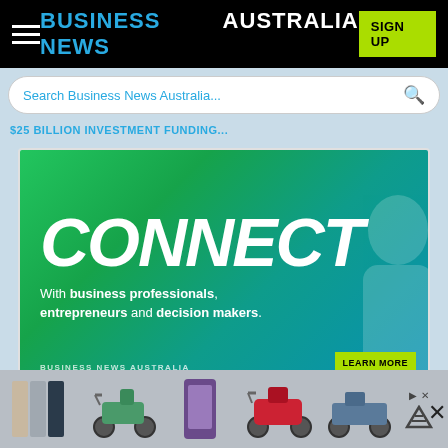BUSINESS NEWS AUSTRALIA
Search Business News Australia...
$25 BILLION INVESTMENT FUNDING
[Figure (illustration): Advertisement banner for Business News Australia showing 'CONNECT' in large italic script with text 'With business professionals, entrepreneurs and decision makers.' on a green-to-teal gradient background with a 'LEARN MORE' yellow-green button and Business News Australia logo at bottom.]
[Figure (photo): Bottom advertisement banner showing smartphones and electric scooters/bikes with ad controls and a close button.]